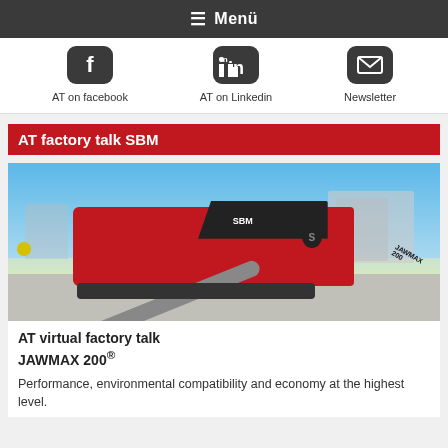≡ Menü
[Figure (screenshot): Three dark rounded-square social media icons: Facebook, LinkedIn, and a newsletter/email icon]
AT on facebook    AT on Linkedin    Newsletter
AT factory talk SBM
[Figure (photo): Red and black SBM JAWMAX 200 mobile jaw crusher machine on a paved surface with city skyline in background]
AT virtual factory talk JAWMAX 200®
Performance, environmental compatibility and economy at the highest level.